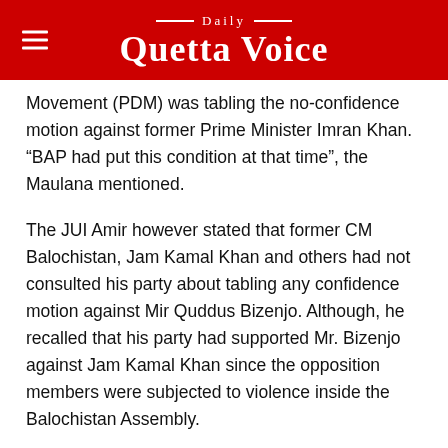Daily Quetta Voice
Movement (PDM) was tabling the no-confidence motion against former Prime Minister Imran Khan. “BAP had put this condition at that time”, the Maulana mentioned.
The JUI Amir however stated that former CM Balochistan, Jam Kamal Khan and others had not consulted his party about tabling any confidence motion against Mir Quddus Bizenjo. Although, he recalled that his party had supported Mr. Bizenjo against Jam Kamal Khan since the opposition members were subjected to violence inside the Balochistan Assembly.
When asked whether the JUI would join the